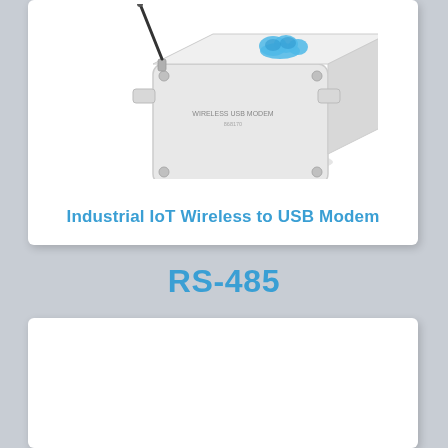[Figure (photo): Industrial IoT Wireless to USB Modem device — a white rectangular box with an antenna on top-left and a blue cloud logo, labeled 'WIRELESS USB MODEM']
Industrial IoT Wireless to USB Modem
RS-485
[Figure (photo): Second product image area (partially visible / blank white card)]